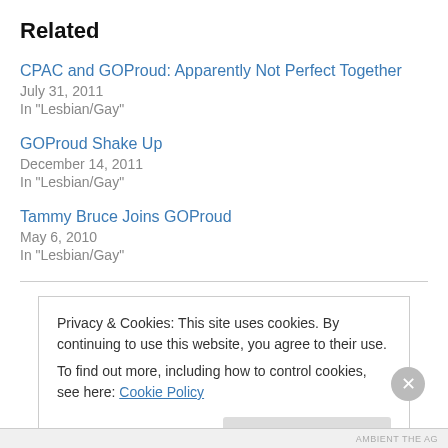Related
CPAC and GOProud: Apparently Not Perfect Together
July 31, 2011
In "Lesbian/Gay"
GOProud Shake Up
December 14, 2011
In "Lesbian/Gay"
Tammy Bruce Joins GOProud
May 6, 2010
In "Lesbian/Gay"
Privacy & Cookies: This site uses cookies. By continuing to use this website, you agree to their use. To find out more, including how to control cookies, see here: Cookie Policy
Close and accept